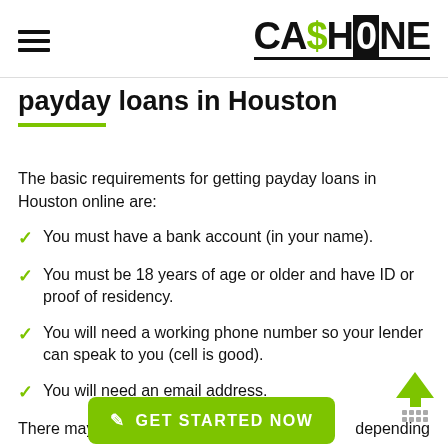CASHONE
payday loans in Houston
The basic requirements for getting payday loans in Houston online are:
You must have a bank account (in your name).
You must be 18 years of age or older and have ID or proof of residency.
You will need a working phone number so your lender can speak to you (cell is good).
You will need an email address.
You should have a recent monthly income of $1,000 or more.
There may b... depending